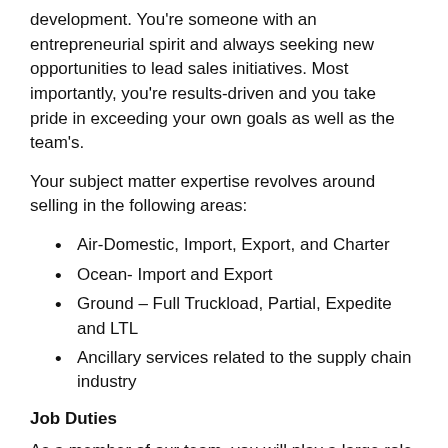development. You're someone with an entrepreneurial spirit and always seeking new opportunities to lead sales initiatives. Most importantly, you're results-driven and you take pride in exceeding your own goals as well as the team's.
Your subject matter expertise revolves around selling in the following areas:
Air-Domestic, Import, Export, and Charter
Ocean- Import and Export
Ground – Full Truckload, Partial, Expedite and LTL
Ancillary services related to the supply chain industry
Job Duties
As a member of our team, you will play a large role in our business development efforts. You will be expected to generate sales revenue and assist with driving the company's growth.